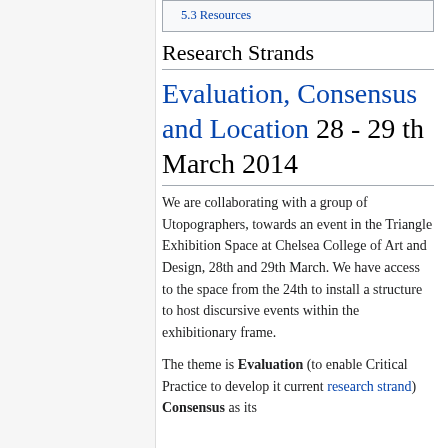5.3 Resources
Research Strands
Evaluation, Consensus and Location 28 - 29 th March 2014
We are collaborating with a group of Utopographers, towards an event in the Triangle Exhibition Space at Chelsea College of Art and Design, 28th and 29th March. We have access to the space from the 24th to install a structure to host discursive events within the exhibitionary frame.
The theme is Evaluation (to enable Critical Practice to develop it current research strand) Consensus as its